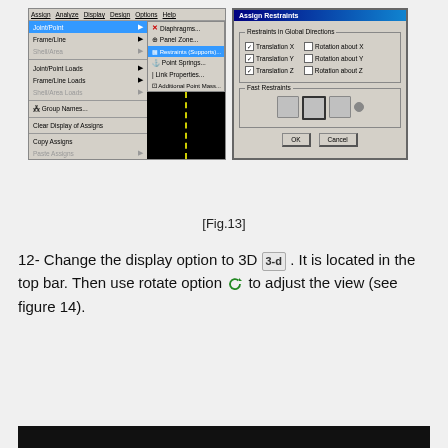[Figure (screenshot): Two software screenshots: left shows SAP2000 Assign menu with Joint/Point selected and Restraints (Supports) highlighted in submenu; right shows Assign Restraints dialog with Translation X, Y, Z checked and Fast Restraints section with OK/Cancel buttons.]
[Fig.13]
12- Change the display option to 3D 3-d . It is located in the top bar. Then use rotate option to adjust the view (see figure 14).
[Figure (screenshot): Bottom black strip showing part of 3D model view.]